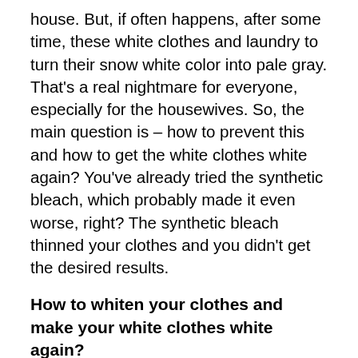house. But, if often happens, after some time, these white clothes and laundry to turn their snow white color into pale gray. That's a real nightmare for everyone, especially for the housewives. So, the main question is – how to prevent this and how to get the white clothes white again? You've already tried the synthetic bleach, which probably made it even worse, right? The synthetic bleach thinned your clothes and you didn't get the desired results.
How to whiten your clothes and make your white clothes white again?
Well, don't be sad, because there are also natural mixtures and remedy, used by our